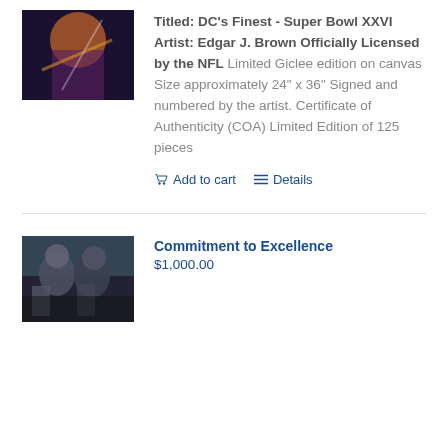[Figure (photo): Top portion of a sports artwork showing a colorful figure in motion against a dark background]
Titled: DC's Finest - Super Bowl XXVI Artist: Edgar J. Brown Officially Licensed by the NFL Limited Giclee edition on canvas Size approximately 24" x 36" Signed and numbered by the artist. Certificate of Authenticity (COA) Limited Edition of 125 pieces
Add to cart   Details
[Figure (photo): Football players on field, Raiders-style uniforms, action shot]
Commitment to Excellence
$1,000.00